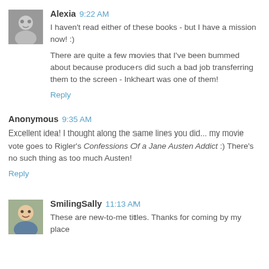[Figure (photo): Avatar photo of Alexia, small grayscale portrait]
Alexia 9:22 AM
I haven't read either of these books - but I have a mission now! :)
There are quite a few movies that I've been bummed about because producers did such a bad job transferring them to the screen - Inkheart was one of them!
Reply
Anonymous 9:35 AM
Excellent idea! I thought along the same lines you did... my movie vote goes to Rigler's Confessions Of a Jane Austen Addict :) There's no such thing as too much Austen!
Reply
[Figure (photo): Avatar photo of SmilingSally, small color portrait]
SmilingSally 11:13 AM
These are new-to-me titles. Thanks for coming by my place